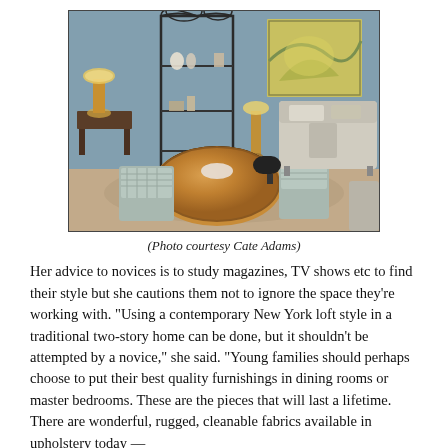[Figure (photo): Interior room photo showing a dining area with a round wooden table, wicker/woven chairs, a decorative metal shelving unit in the background, a tufted sofa on the right, an abstract painting on the wall, and two lamps. The walls are a blue-gray color.]
(Photo courtesy Cate Adams)
Her advice to novices is to study magazines, TV shows etc to find their style but she cautions them not to ignore the space they’re working with. “Using a contemporary New York loft style in a traditional two-story home can be done, but it shouldn’t be attempted by a novice,” she said. “Young families should perhaps choose to put their best quality furnishings in dining rooms or master bedrooms. These are the pieces that will last a lifetime. There are wonderful, rugged, cleanable fabrics available in upholstery today —